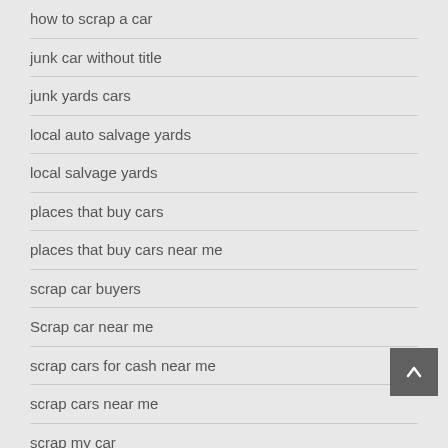how to scrap a car
junk car without title
junk yards cars
local auto salvage yards
local salvage yards
places that buy cars
places that buy cars near me
scrap car buyers
Scrap car near me
scrap cars for cash near me
scrap cars near me
scrap my car